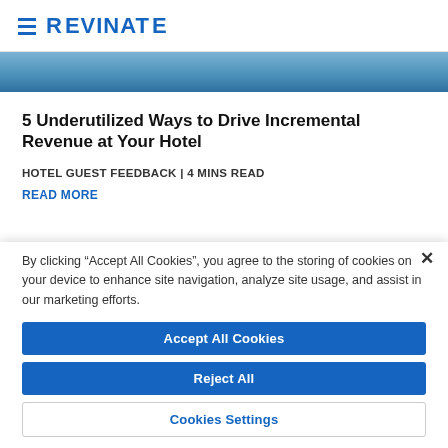REVINATE
[Figure (photo): Blue decorative image strip/banner at top of article card]
5 Underutilized Ways to Drive Incremental Revenue at Your Hotel
HOTEL GUEST FEEDBACK | 4 MINS READ
READ MORE
By clicking “Accept All Cookies”, you agree to the storing of cookies on your device to enhance site navigation, analyze site usage, and assist in our marketing efforts.
Accept All Cookies
Reject All
Cookies Settings